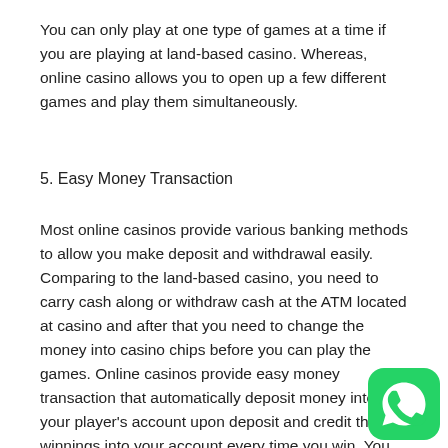You can only play at one type of games at a time if you are playing at land-based casino. Whereas, online casino allows you to open up a few different games and play them simultaneously.
5. Easy Money Transaction
Most online casinos provide various banking methods to allow you make deposit and withdrawal easily. Comparing to the land-based casino, you need to carry cash along or withdraw cash at the ATM located at casino and after that you need to change the money into casino chips before you can play the games. Online casinos provide easy money transaction that automatically deposit money into your player's account upon deposit and credit the winnings into your account every time you win. You can make request to withdraw the money safely into your credit card, bank account or any of your selected banking methods.